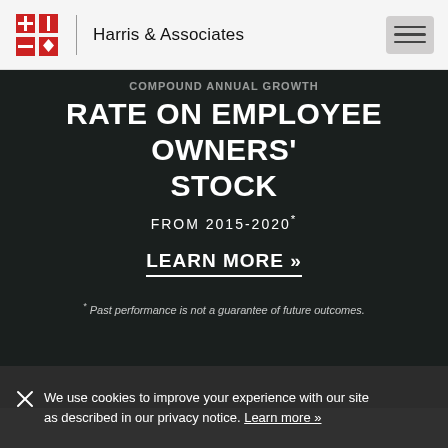Harris & Associates
RATE ON EMPLOYEE OWNERS' STOCK
FROM 2015-2020*
LEARN MORE »
* Past performance is not a guarantee of future outcomes.
We use cookies to improve your experience with our site as described in our privacy notice. Learn more »